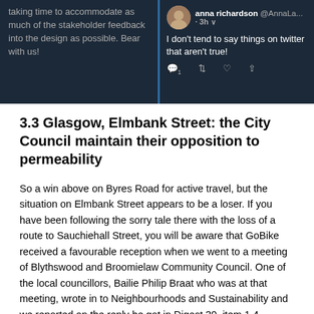[Figure (screenshot): Screenshot of Twitter/social media showing two tweets on dark background. Left tweet text: 'taking time to accommodate as much of the stakeholder feedback into the design as possible. Bear with us!' Right tweet from anna richardson @AnnaLa... 3h: 'I don't tend to say things on twitter that aren't true!' with reply/retweet/like/share icons below.]
3.3 Glasgow, Elmbank Street: the City Council maintain their opposition to permeability
So a win above on Byres Road for active travel, but the situation on Elmbank Street appears to be a loser. If you have been following the sorry tale there with the loss of a route to Sauchiehall Street, you will be aware that GoBike received a favourable reception when we went to a meeting of Blythswood and Broomielaw Community Council. One of the local councillors, Bailie Philip Braat who was at that meeting, wrote in to Neighbourhoods and Sustainability and we reported on the reply he got in Digest 30, item 1.4
We were delighted to hear that the other councillor who attended that meeting, Bailie Christine Jamieson, wrote to